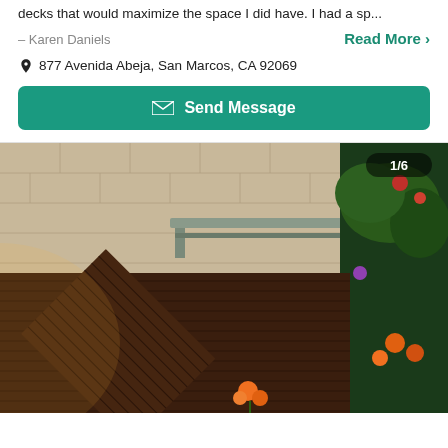decks that would maximize the space I did have. I had a sp...
– Karen Daniels
Read More >
877 Avenida Abeja, San Marcos, CA 92069
Send Message
[Figure (photo): Outdoor wooden deck with diagonal plank pattern, a gray bench against a brick wall, and flowering plants on the right side. Counter shows 1/6.]